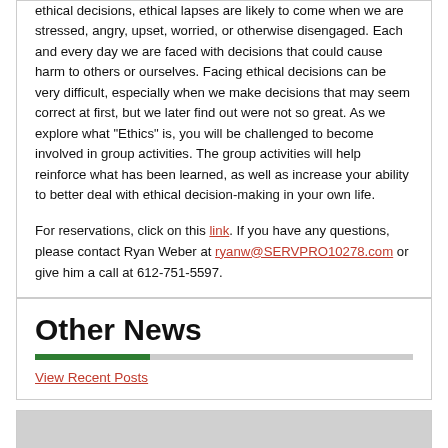ethical decisions, ethical lapses are likely to come when we are stressed, angry, upset, worried, or otherwise disengaged. Each and every day we are faced with decisions that could cause harm to others or ourselves. Facing ethical decisions can be very difficult, especially when we make decisions that may seem correct at first, but we later find out were not so great. As we explore what "Ethics" is, you will be challenged to become involved in group activities. The group activities will help reinforce what has been learned, as well as increase your ability to better deal with ethical decision-making in your own life.
For reservations, click on this link. If you have any questions, please contact Ryan Weber at ryanw@SERVPRO10278.com or give him a call at 612-751-5597.
Other News
View Recent Posts